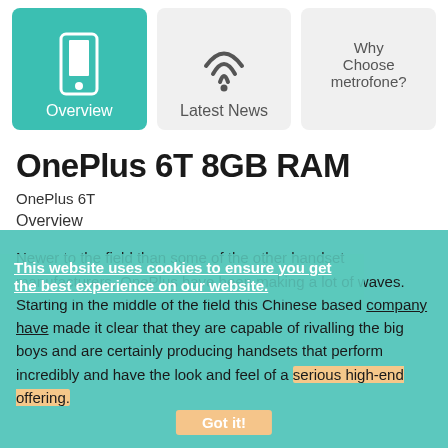[Figure (screenshot): Navigation bar with three items: Overview (active, teal background with phone icon), Latest News (light grey background with signal/wifi icon), and Why Choose metrofone? (light grey background, text only)]
OnePlus 6T 8GB RAM
OnePlus 6T
Overview
Newer to the field than some of the other handset manufacturers, OnePlus have been making a lot of waves. Starting in the middle of the field this Chinese based company have made it clear that they are capable of rivalling the big boys and are certainly producing handsets that perform incredibly and have the look and feel of a serious high-end offering.
This website uses cookies to ensure you get the best experience on our website.
Got it!
Their most famous range that sits at the top of their own